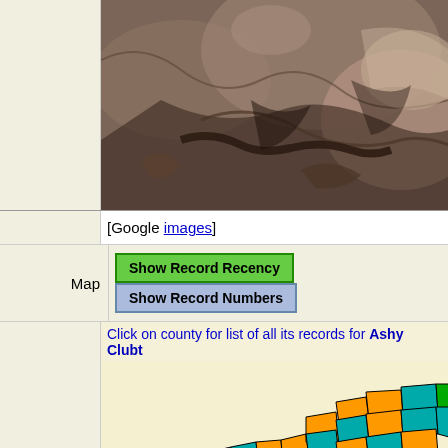[Figure (photo): Close-up photo of a snake (Ashy Clubtail or similar species) camouflaged among rocks and dry leaves]
[Google images]
Map   Show Record Recency   Show Record Numbers
Click on county for list of all its records for Ashy Clubt...
[Figure (map): County-level distribution map of North Carolina showing Ashy Clubtail records by county, color-coded by recency/frequency. Counties colored orange, teal/green, yellow, pink, and bright green.]